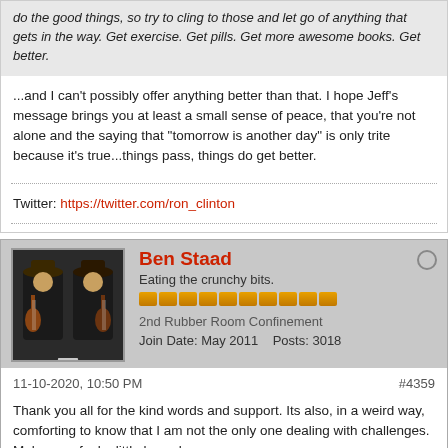do the good things, so try to cling to those and let go of anything that gets in the way. Get exercise. Get pills. Get more awesome books. Get better.
...and I can't possibly offer anything better than that. I hope Jeff's message brings you at least a small sense of peace, that you're not alone and the saying that "tomorrow is another day" is only trite because it's true...things pass, things do get better.
Twitter: https://twitter.com/ron_clinton
Ben Staad
Eating the crunchy bits.
2nd Rubber Room Confinement
Join Date: May 2011   Posts: 3018
11-10-2020, 10:50 PM
#4359
Thank you all for the kind words and support. Its also, in a weird way, comforting to know that I am not the only one dealing with challenges. Makes me feel a little less alone.
I have scheduled an appointment to talk with someone and think I probably